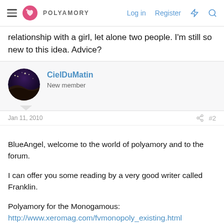POLYAMORY  Log in  Register
relationship with a girl, let alone two people. I'm still so new to this idea. Advice?
CielDuMatin
New member
Jan 11, 2010  #2
BlueAngel, welcome to the world of polyamory and to the forum.

I can offer you some reading by a very good writer called Franklin.

Polyamory for the Monogamous:
http://www.xeromag.com/fvmonopoly_existing.html
Things to Consider Before You Enter a Relationship as a Secondary: http://www.xeromag.com/fvsecondary.html
Guide to Dating a Couple:
http://www.xeromag.com/fvpolydatingcouple.html